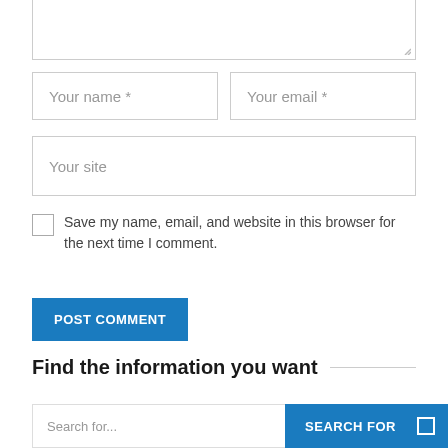[Figure (screenshot): Partial textarea at top of page showing bottom portion of a comment text input with a resize handle]
Your name *
Your email *
Your site
Save my name, email, and website in this browser for the next time I comment.
POST COMMENT
Find the information you want
Search for...
SEARCH FOR